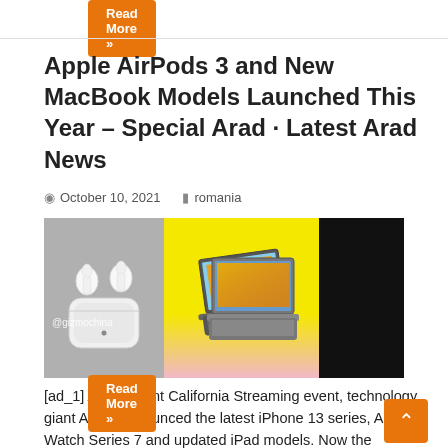Read More »
Apple AirPods 3 and New MacBook Models Launched This Year – Special Arad · Latest Arad News
October 10, 2021   romania
[Figure (photo): Composite image showing Apple AirPods 3 with charging case on grey background (left), two MacBook laptops on yellow/pink gradient background (center), and black background (right). Watermark @gizmochina visible on left panel.]
[ad_1] At its recent California Streaming event, technology giant Apple announced the latest iPhone 13 series, Apple Watch Series 7 and updated iPad models. Now the company is expected to launch a …
Read More »